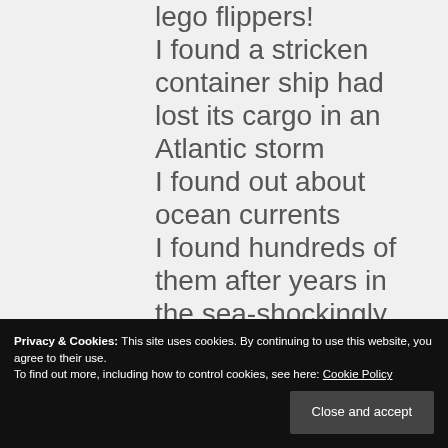lego flippers! I found a stricken container ship had lost its cargo in an Atlantic storm I found out about ocean currents I found hundreds of them after years in the sea-shockingly unchanged I found they could make a
Privacy & Cookies: This site uses cookies. By continuing to use this website, you agree to their use. To find out more, including how to control cookies, see here: Cookie Policy
I still find flippers when I go